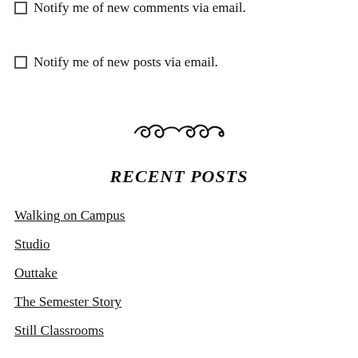Notify me of new comments via email.
Notify me of new posts via email.
[Figure (illustration): Decorative swirl/curl divider ornament]
RECENT POSTS
Walking on Campus
Studio
Outtake
The Semester Story
Still Classrooms